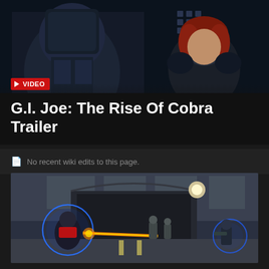[Figure (screenshot): Dark cinematic screenshot from G.I. Joe game/trailer showing two armored characters, one in dark armor in foreground and a woman with red hair in background, against a dark atmospheric setting]
VIDEO
G.I. Joe: The Rise Of Cobra Trailer
No recent wiki edits to this page.
[Figure (screenshot): In-game screenshot showing action combat scene in a dark tunnel/underpass environment. Characters fighting with energy weapons, blue glowing shields, and an orange energy blast. One character in red suit on left, enemy characters on right.]